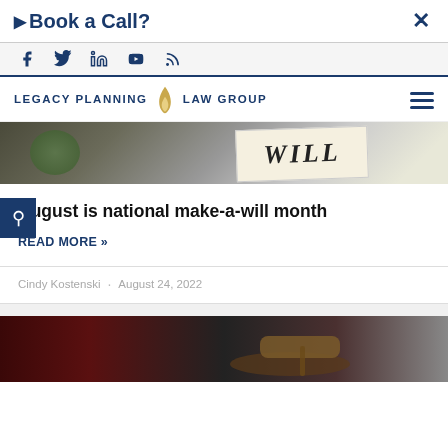Book a Call?
[Figure (screenshot): Social media icons bar: Facebook, Twitter, LinkedIn, YouTube, RSS feed icons in navy blue on light grey background]
[Figure (logo): Legacy Planning Law Group logo with gold flame icon and navy text: LEGACY PLANNING LAW GROUP]
[Figure (photo): Photo showing a paper or card with WILL written on it, with a cactus plant in background]
August is national make-a-will month
READ MORE »
Cindy Kostenski · August 24, 2022
[Figure (photo): Photo of a wooden judge's gavel on dark background suggesting law books]